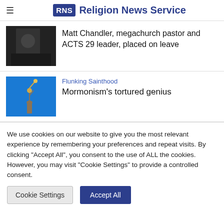RNS Religion News Service
Matt Chandler, megachurch pastor and ACTS 29 leader, placed on leave
Flunking Sainthood
Mormonism's tortured genius
We use cookies on our website to give you the most relevant experience by remembering your preferences and repeat visits. By clicking "Accept All", you consent to the use of ALL the cookies. However, you may visit "Cookie Settings" to provide a controlled consent.